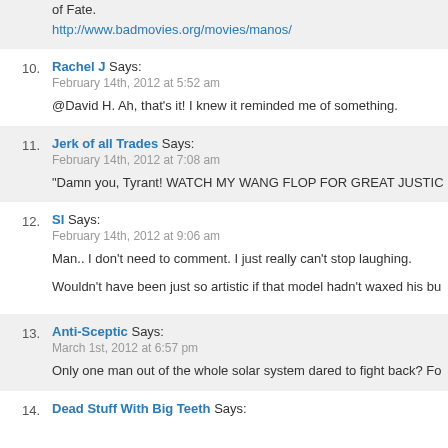This looks like it was inspired by one of the worst movies ever made: Manos: The Hands of Fate.
http://www.badmovies.org/movies/manos/
10. Rachel J Says:
February 14th, 2012 at 5:52 am
@David H. Ah, that's it! I knew it reminded me of something.
11. Jerk of all Trades Says:
February 14th, 2012 at 7:08 am
“Damn you, Tyrant! WATCH MY WANG FLOP FOR GREAT JUSTIC
12. SI Says:
February 14th, 2012 at 9:06 am
Man.. I don't need to comment. I just really can't stop laughing.
Wouldn't have been just so artistic if that model hadn't waxed his bu
13. Anti-Sceptic Says:
March 1st, 2012 at 6:57 pm
Only one man out of the whole solar system dared to fight back? Fo
14. Dead Stuff With Big Teeth Says: